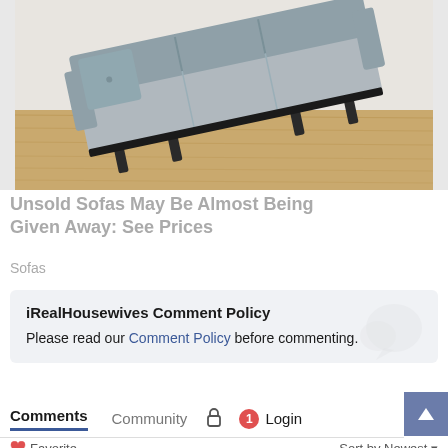[Figure (photo): A gray modern sofa tilted at an angle against a white wall on a light wood floor]
Unsold Sofas May Be Almost Being Given Away: See Prices
Sofas
iRealHousewives Comment Policy
Please read our Comment Policy before commenting.
Comments  Community  1  Login
Favorite  Sort by Newest